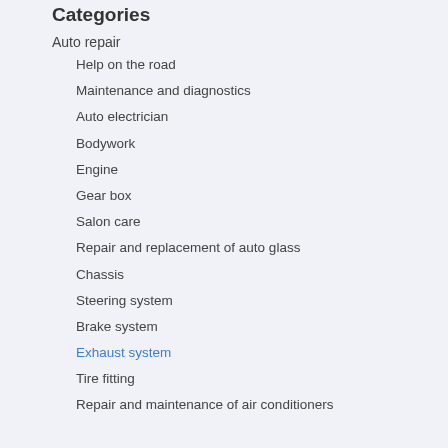Categories
Auto repair
Help on the road
Maintenance and diagnostics
Auto electrician
Bodywork
Engine
Gear box
Salon care
Repair and replacement of auto glass
Chassis
Steering system
Brake system
Exhaust system
Tire fitting
Repair and maintenance of air conditioners